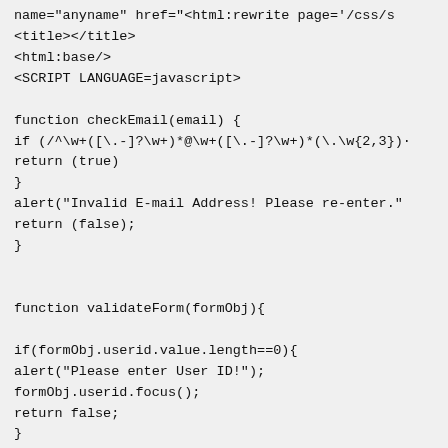name="anyname" href="<html:rewrite page='/css/s
<title></title>
<html:base/>
<SCRIPT LANGUAGE=javascript>

function checkEmail(email) {
if (/^\w+([\.-]?\w+)*@\w+([\.-]?\w+)*(\.\w{2,3})·
return (true)
}
alert("Invalid E-mail Address! Please re-enter."
return (false);
}


function validateForm(formObj){

if(formObj.userid.value.length==0){
alert("Please enter User ID!");
formObj.userid.focus();
return false;
}

if(formObj.password.value.length==0){
alert("Please enter password!");
formObj.password.focus();